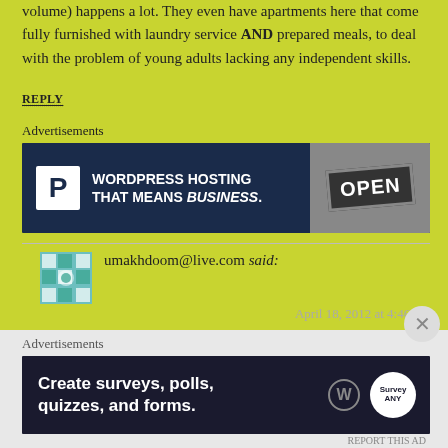volume) happens a lot. They even have apartments here that come fully furnished with laundry service AND prepared meals, to deal with the problem of young adults lacking any independent skills.
REPLY
Advertisements
[Figure (other): WordPress Hosting advertisement banner: P logo, text 'WORDPRESS HOSTING THAT MEANS BUSINESS.' and an OPEN sign photo]
umakhdoom@live.com said:
April 18, 2012 at 4:46 pm
Jessica, you are a typical indignant white person in Japan who suddenly sees racism everywhere, when she never saw herself doing it to others when SHE was the maority
Advertisements
[Figure (other): Advertisement banner: 'Create surveys, polls, quizzes, and forms.' with WordPress and SurveyANY icons]